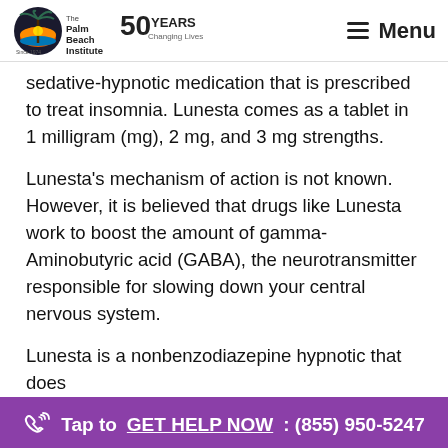The Palm Beach Institute — 50 Years Changing Lives | Menu
sedative-hypnotic medication that is prescribed to treat insomnia. Lunesta comes as a tablet in 1 milligram (mg), 2 mg, and 3 mg strengths.
Lunesta's mechanism of action is not known. However, it is believed that drugs like Lunesta work to boost the amount of gamma-Aminobutyric acid (GABA), the neurotransmitter responsible for slowing down your central nervous system.
Lunesta is a nonbenzodiazepine hypnotic that does
Tap to GET HELP NOW: (855) 950-5247
effects.